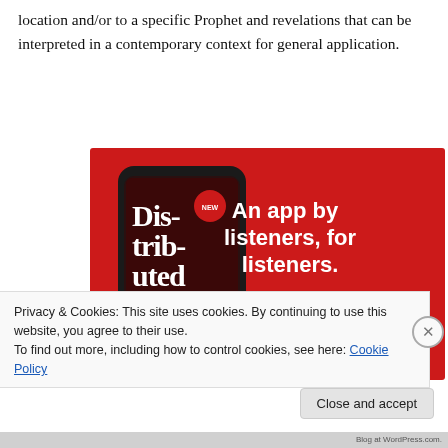location and/or to a specific Prophet and revelations that can be interpreted in a contemporary context for general application.
[Figure (screenshot): Advertisement banner for a podcast app. Red background with a smartphone showing a podcast episode called 'Distributed'. Text reads 'An app by listeners, for listeners.' with a 'Download now' button.]
Privacy & Cookies: This site uses cookies. By continuing to use this website, you agree to their use.
To find out more, including how to control cookies, see here: Cookie Policy
Close and accept